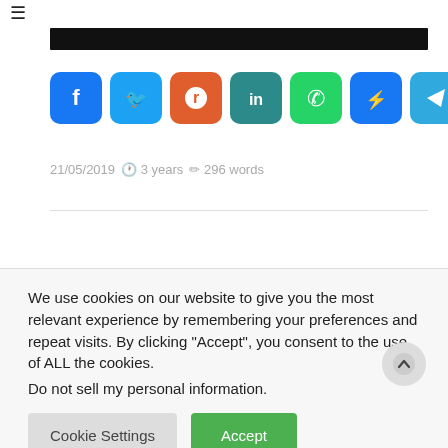[Figure (screenshot): Hamburger menu icon (three horizontal lines) in top left]
[Figure (screenshot): Black redacted bar below hamburger menu]
[Figure (infographic): Social share icons row: Facebook (blue), Twitter (light blue), Reddit (orange-red), LinkedIn (teal), WhatsApp (green), Messenger (blue), Telegram (light blue), Share/More (blue)]
21/05/2019  3 years  296 words
We use cookies on our website to give you the most relevant experience by remembering your preferences and repeat visits. By clicking "Accept", you consent to the use of ALL the cookies.
Do not sell my personal information.